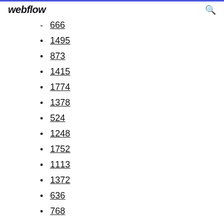webflow
666
1495
873
1415
1774
1378
524
1248
1752
1113
1372
636
768